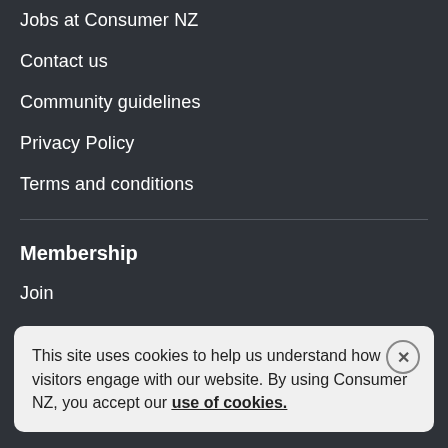Jobs at Consumer NZ
Contact us
Community guidelines
Privacy Policy
Terms and conditions
Membership
Join
C…
O…
M…
Y…
This site uses cookies to help us understand how visitors engage with our website. By using Consumer NZ, you accept our use of cookies.